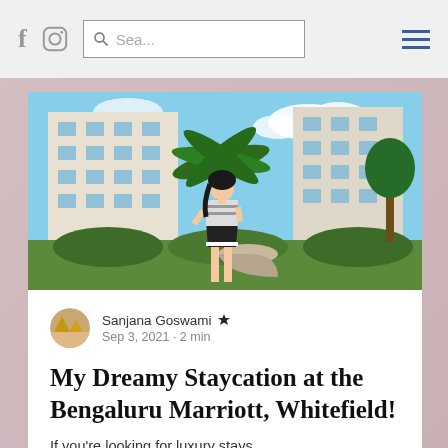f  [Instagram icon]  Sea...  [hamburger menu]
[Figure (photo): Outdoor photo of a woman in a striped top and black skirt standing in front of the Bengaluru Marriott hotel building, with palm trees and lush greenery around her.]
Sanjana Goswami 👑 Sep 3, 2021 · 2 min
My Dreamy Staycation at the Bengaluru Marriott, Whitefield!
If you're looking for luxury stays